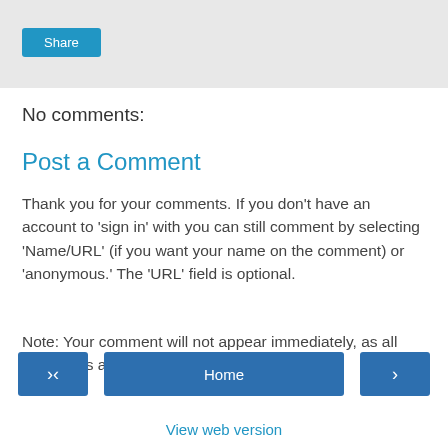Share
No comments:
Post a Comment
Thank you for your comments. If you don't have an account to 'sign in' with you can still comment by selecting 'Name/URL' (if you want your name on the comment) or 'anonymous.' The 'URL' field is optional.
Note: Your comment will not appear immediately, as all comments are moderated.
Home
View web version